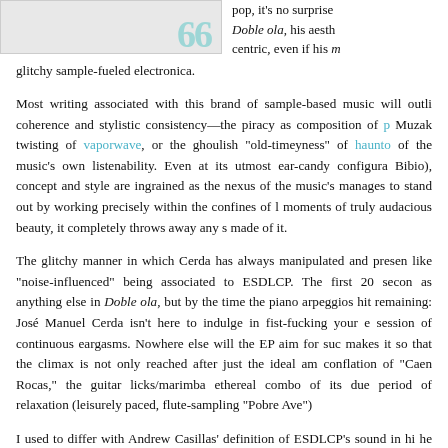[Figure (illustration): Top portion of an album or article image with teal/cyan stylized text overlay, partially cropped]
pop, it's no surprise Doble ola, his aesthetic is pop-centric, even if his music is glitchy sample-fueled electronica.
Most writing associated with this brand of sample-based music will outline coherence and stylistic consistency—the piracy as composition of p[...] Muzak twisting of vaporwave, or the ghoulish "old-timeyness" of haunto[...] of the music's own listenability. Even at its utmost ear-candy configura[...] Bibio), concept and style are ingrained as the nexus of the music's manages to stand out by working precisely within the confines of l moments of truly audacious beauty, it completely throws away any so made of it.
The glitchy manner in which Cerda has always manipulated and presen like "noise-influenced" being associated to ESDLCP. The first 20 secono as anything else in Doble ola, but by the time the piano arpeggios hit remaining: José Manuel Cerda isn't here to indulge in fist-fucking your e session of continuous eargasms. Nowhere else will the EP aim for such makes it so that the climax is not only reached after just the ideal amo conflation of "Caen Rocas," the guitar licks/marimba ethereal combo of its due period of relaxation (leisurely paced, flute-sampling "Pobre Ave")
I used to differ with Andrew Casillas' definition of ESDLCP's sound in hi he stated that "there's nothing really original about El sueño de la..."